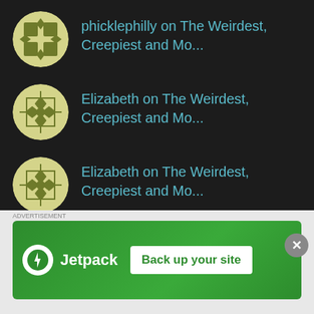phicklephilly on The Weirdest, Creepiest and Mo...
Elizabeth on The Weirdest, Creepiest and Mo...
Elizabeth on The Weirdest, Creepiest and Mo...
November 2016
| S | M | T | W | T | F | S |
| --- | --- | --- | --- | --- | --- | --- |
[Figure (other): Jetpack advertisement banner with logo and 'Back up your site' button]